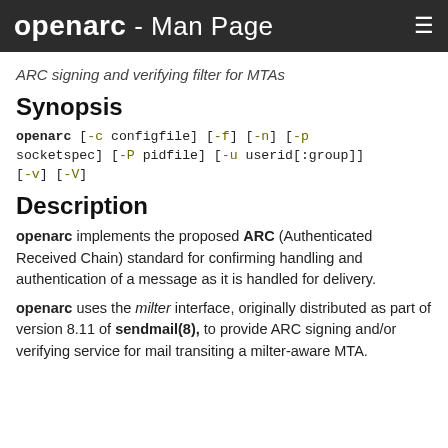openarc - Man Page
ARC signing and verifying filter for MTAs
Synopsis
openarc [-c configfile] [-f] [-n] [-p socketspec] [-P pidfile] [-u userid[:group]] [-v] [-V]
Description
openarc implements the proposed ARC (Authenticated Received Chain) standard for confirming handling and authentication of a message as it is handled for delivery.
openarc uses the milter interface, originally distributed as part of version 8.11 of sendmail(8), to provide ARC signing and/or verifying service for mail transiting a milter-aware MTA.